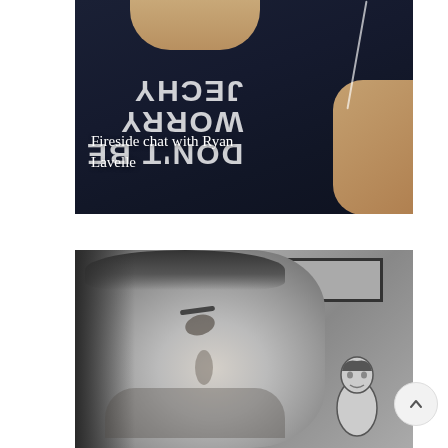[Figure (photo): Color photo of a person wearing a dark navy t-shirt with mirrored/upside-down text, white earphone wire visible, skin of neck and arm visible at edges]
Fireside chat with Ryan Lavelle
[Figure (photo): Black and white close-up portrait of a man looking upward, with a cartoon figurine visible in the background]